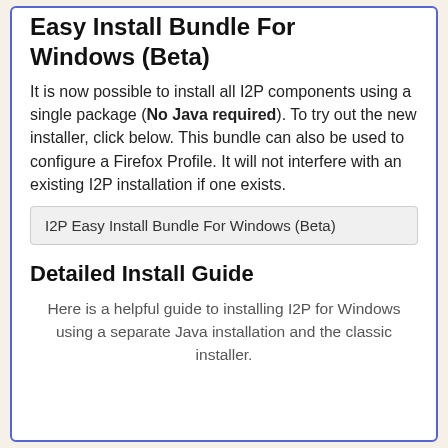Easy Install Bundle For Windows (Beta)
It is now possible to install all I2P components using a single package (No Java required). To try out the new installer, click below. This bundle can also be used to configure a Firefox Profile. It will not interfere with an existing I2P installation if one exists.
I2P Easy Install Bundle For Windows (Beta)
Detailed Install Guide
Here is a helpful guide to installing I2P for Windows using a separate Java installation and the classic installer.